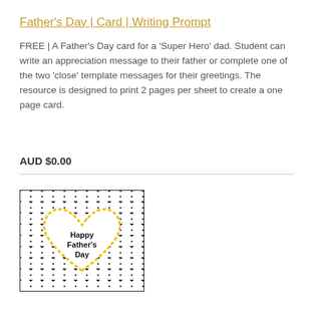Father's Day | Card | Writing Prompt
FREE | A Father's Day card for a ‘Super Hero’ dad. Student can write an appreciation message to their father or complete one of the two ‘close’ template messages for their greetings. The resource is designed to print 2 pages per sheet to create a one page card.
AUD $0.00
[Figure (illustration): A greeting card with black and white chevron/herringbone pattern background, featuring a large white heart outlined with a yellow dotted border, with text 'Happy Father's Day' written inside the heart in black.]